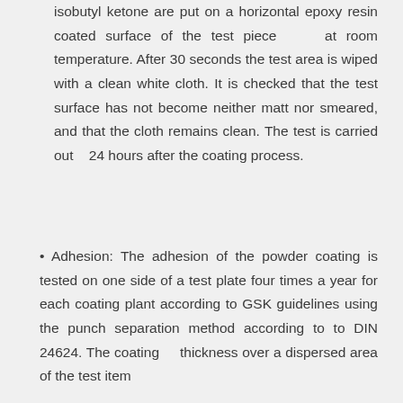isobutyl ketone are put on a horizontal epoxy resin coated surface of the test piece    at room temperature. After 30 seconds the test area is wiped with a clean white cloth. It is checked that the test surface has not become neither matt nor smeared, and that the cloth remains clean. The test is carried out   24 hours after the coating process.
• Adhesion: The adhesion of the powder coating is tested on one side of a test plate four times a year for each coating plant according to GSK guidelines using the punch separation method according to DIN 24624. The coating    thickness over a dispersed area of the test item